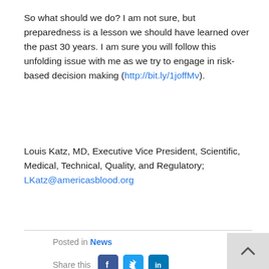So what should we do? I am not sure, but preparedness is a lesson we should have learned over the past 30 years. I am sure you will follow this unfolding issue with me as we try to engage in risk-based decision making (http://bit.ly/1joffMv).
Louis Katz, MD, Executive Vice President, Scientific, Medical, Technical, Quality, and Regulatory; LKatz@americasblood.org
Posted in News
Share this